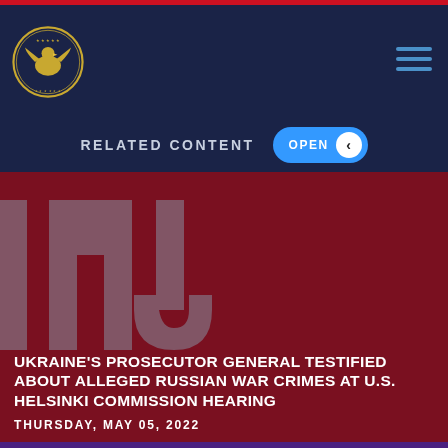Commission on Security and Cooperation in Europe (Helsinki Commission)
RELATED CONTENT
[Figure (logo): CNN logo watermark on dark red background with article headline and date]
UKRAINE'S PROSECUTOR GENERAL TESTIFIED ABOUT ALLEGED RUSSIAN WAR CRIMES AT U.S. HELSINKI COMMISSION HEARING
THURSDAY, MAY 05, 2022